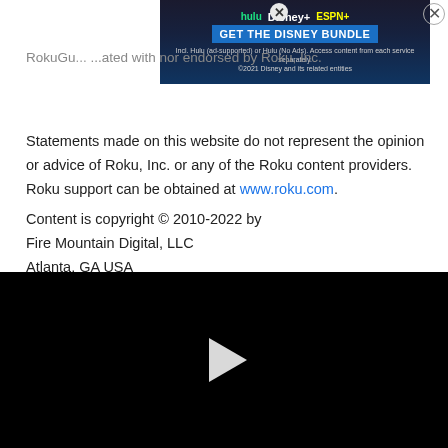[Figure (screenshot): Advertisement banner for Disney Bundle featuring Hulu, Disney+, and ESPN+ logos with 'GET THE DISNEY BUNDLE' call-to-action button and disclaimer text]
RokuGu... ...ated with nor endorsed by Roku, Inc.
Statements made on this website do not represent the opinion or advice of Roku, Inc. or any of the Roku content providers. Roku support can be obtained at www.roku.com.
Content is copyright © 2010-2022 by
Fire Mountain Digital, LLC
Atlanta, GA USA
[Figure (screenshot): Black video player area with a white play button triangle in the center]